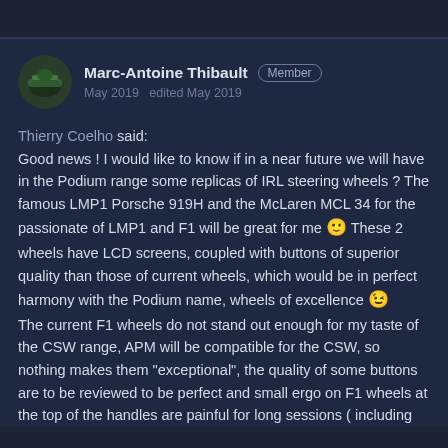Marc-Antoine Thibault  Member
May 2019  edited May 2019
Thierry Coelho said:
Good news ! I would like to know if in a near future we will have in the Podium range some replicas of IRL steering wheels ? The famous LMP1 Porsche 919H and the McLaren MCL 34 for the passionate of LMP1 and F1 will be great for me 🙂 These 2 wheels have LCD screens, coupled with buttons of superior quality than those of current wheels, which would be in perfect harmony with the Podium name, wheels of excellence 😉
The current F1 wheels do not stand out enough for my taste of the CSW range, APM will be compatible for the CSW, so nothing makes them "exceptional", the quality of some buttons are to be reviewed to be perfect and small ergo on F1 wheels at the top of the handles are painful for long sessions ( including